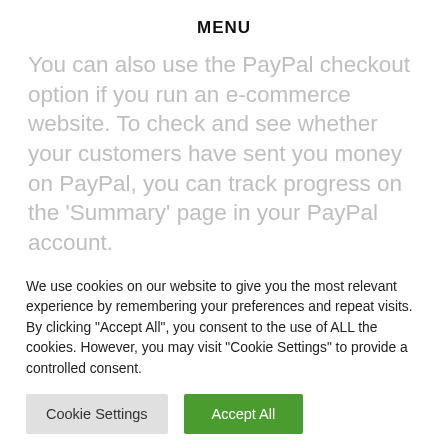MENU
You can also use the PayPal checkout option if you run an e-commerce website. To check and see whether your customers have sent you money on PayPal, you can track progress on the 'Summary' page in your PayPal account.
Receiving money on PayPal is easy, but the money will be available in your digital wallet. You
We use cookies on our website to give you the most relevant experience by remembering your preferences and repeat visits. By clicking "Accept All", you consent to the use of ALL the cookies. However, you may visit "Cookie Settings" to provide a controlled consent.